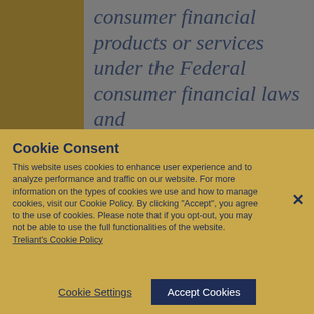consumer financial products or services under the Federal consumer financial laws and
Cookie Consent
This website uses cookies to enhance user experience and to analyze performance and traffic on our website. For more information on the types of cookies we use and how to manage cookies, visit our Cookie Policy. By clicking "Accept", you agree to the use of cookies. Please note that if you opt-out, you may not be able to use the full functionalities of the website. Treliant's Cookie Policy